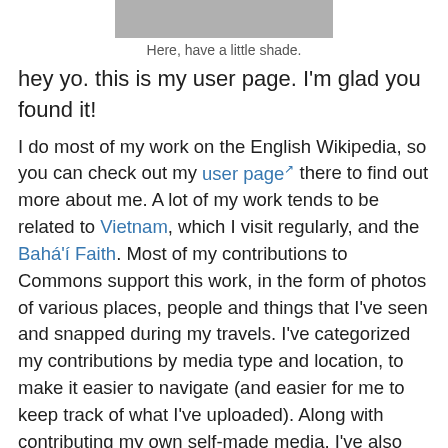[Figure (photo): A gray/shaded rectangular image at the top, partial view of a shaded area]
Here, have a little shade.
hey yo. this is my user page. I'm glad you found it!
I do most of my work on the English Wikipedia, so you can check out my user page there to find out more about me. A lot of my work tends to be related to Vietnam, which I visit regularly, and the Bahá'í Faith. Most of my contributions to Commons support this work, in the form of photos of various places, people and things that I've seen and snapped during my travels. I've categorized my contributions by media type and location, to make it easier to navigate (and easier for me to keep track of what I've uploaded). Along with contributing my own self-made media, I've also made a habit of scouring flickr for Creative Commons-licensed images that others have taken. That being said, the images on this page (and in the category